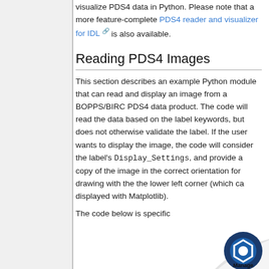visualize PDS4 data in Python. Please note that a more feature-complete PDS4 reader and visualizer for IDL is also available.
Reading PDS4 Images
This section describes an example Python module that can read and display an image from a BOPPS/BIRC PDS4 data product. The code will read the data based on the label keywords, but does not otherwise validate the label. If the user wants to display the image, the code will consider the label's Display_Settings, and provide a copy of the image in the correct orientation for drawing with the the lower left corner (which ca displayed with Matplotlib).
The code below is specific